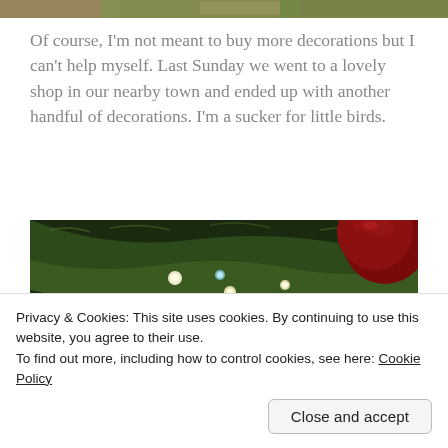[Figure (photo): Top strip of a Christmas-decorated scene, partially visible at the very top of the page]
Of course, I'm not meant to buy more decorations but I can't help myself. Last Sunday we went to a lovely shop in our nearby town and ended up with another handful of decorations. I'm a sucker for little birds.
[Figure (photo): Close-up photo of a Christmas tree with green branches, warm fairy lights, a red bauble ornament, and colorful decorations visible among the needles]
Privacy & Cookies: This site uses cookies. By continuing to use this website, you agree to their use.
To find out more, including how to control cookies, see here: Cookie Policy
Close and accept